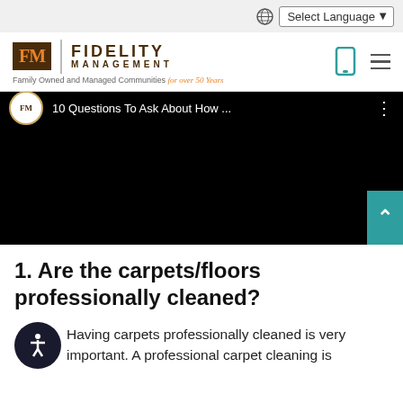Select Language
[Figure (logo): Fidelity Management logo with FM box and text 'Family Owned and Managed Communities for over 50 Years']
[Figure (screenshot): YouTube video player showing '10 Questions To Ask About How ...' with black background]
1. Are the carpets/floors professionally cleaned?
Having carpets professionally cleaned is very important. A professional carpet cleaning is